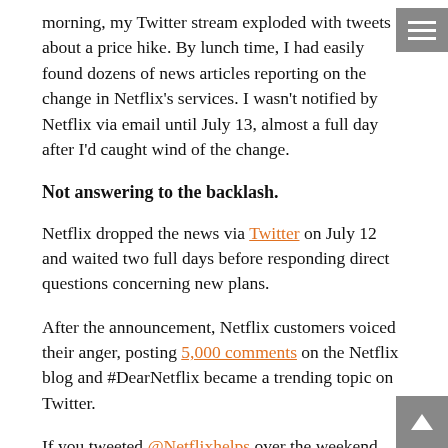morning, my Twitter stream exploded with tweets about a price hike. By lunch time, I had easily found dozens of news articles reporting on the change in Netflix's services. I wasn't notified by Netflix via email until July 13, almost a full day after I'd caught wind of the change.
Not answering to the backlash.
Netflix dropped the news via Twitter on July 12 and waited two full days before responding direct questions concerning new plans.
After the announcement, Netflix customers voiced their anger, posting 5,000 comments on the Netflix blog and #DearNetflix became a trending topic on Twitter.
If you tweeted @Netflixhelps over the weekend, and didn't get a response, it's because they only answer questions Monday through Friday and instead direct you to call the 24/7 customer service line. A colleague of mine did exactly that and received an automated message saying, "We are currently experience a large